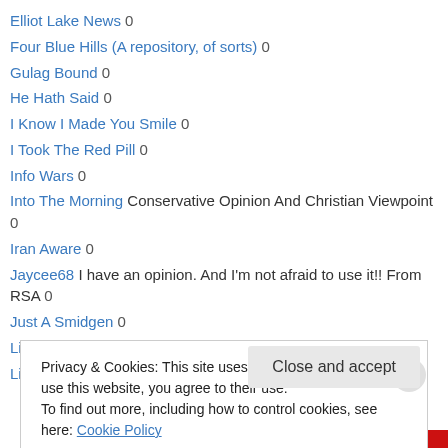Elliot Lake News 0
Four Blue Hills (A repository, of sorts) 0
Gulag Bound 0
He Hath Said 0
I Know I Made You Smile 0
I Took The Red Pill 0
Info Wars 0
Into The Morning Conservative Opinion And Christian Viewpoint 0
Iran Aware 0
Jaycee68 I have an opinion. And I'm not afraid to use it!! From RSA 0
Just A Smidgen 0
Like A Bump On A Blog 0
Linda Vernon Humor 0
Privacy & Cookies: This site uses cookies. By continuing to use this website, you agree to their use. To find out more, including how to control cookies, see here: Cookie Policy